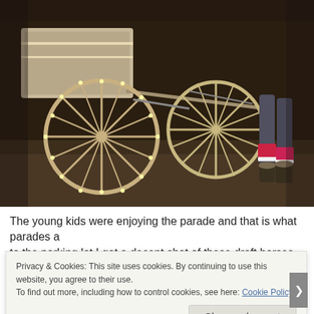[Figure (photo): Nighttime photo of horse-drawn carriages with wooden spoke wheels decorated with lights. A horse's legs are visible on the right side wearing red and white festive leg wraps. The background is a dark pavement surface.]
The young kids were enjoying the parade and that is what parades a... to the parking lot I got a decent shot of these draft horses.
Privacy & Cookies: This site uses cookies. By continuing to use this website, you agree to their use.
To find out more, including how to control cookies, see here: Cookie Policy
Close and accept